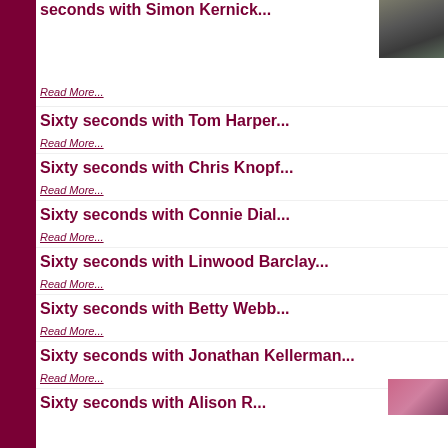[Figure (photo): Photo of Simon Kernick, man in dark jacket]
seconds with Simon Kernick...
Read More...
Sixty seconds with Tom Harper...
Read More...
Sixty seconds with Chris Knopf...
Read More...
Sixty seconds with Connie Dial...
Read More...
Sixty seconds with Linwood Barclay...
Read More...
Sixty seconds with Betty Webb...
Read More...
Sixty seconds with Jonathan Kellerman...
Read More...
Sixty seconds with Alison R...
[Figure (photo): Partial photo of Alison, person with pink/magenta color visible]